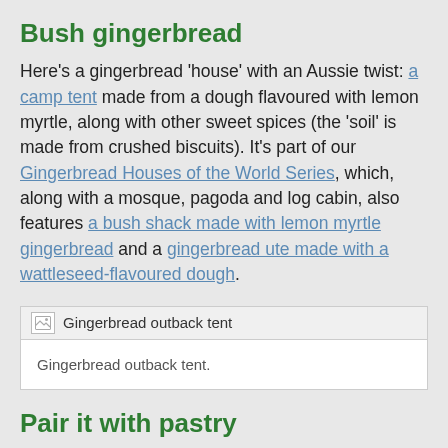Bush gingerbread
Here's a gingerbread 'house' with an Aussie twist: a camp tent made from a dough flavoured with lemon myrtle, along with other sweet spices (the 'soil' is made from crushed biscuits). It's part of our Gingerbread Houses of the World Series, which, along with a mosque, pagoda and log cabin, also features a bush shack made with lemon myrtle gingerbread and a gingerbread ute made with a wattleseed-flavoured dough.
[Figure (photo): Gingerbread outback tent image placeholder with caption 'Gingerbread outback tent.']
Gingerbread outback tent.
Pair it with pastry
Redbush apples, also known as djarduk among other names, are a fruit that's becoming popular in the Northern